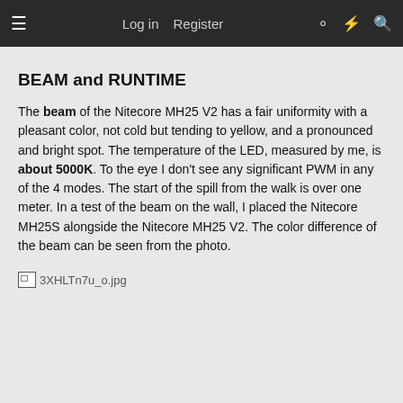≡   Log in   Register
BEAM and RUNTIME
The beam of the Nitecore MH25 V2 has a fair uniformity with a pleasant color, not cold but tending to yellow, and a pronounced and bright spot. The temperature of the LED, measured by me, is about 5000K. To the eye I don't see any significant PWM in any of the 4 modes. The start of the spill from the walk is over one meter. In a test of the beam on the wall, I placed the Nitecore MH25S alongside the Nitecore MH25 V2. The color difference of the beam can be seen from the photo.
[Figure (photo): Broken image placeholder showing filename 3XHLTn7u_o.jpg]